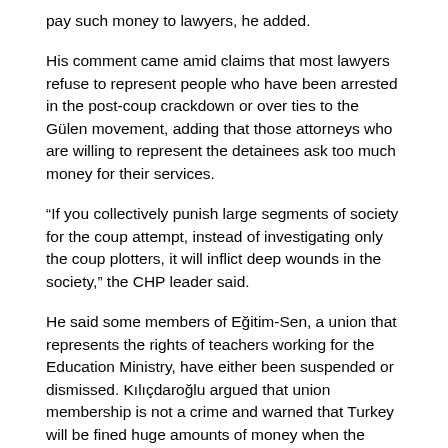pay such money to lawyers, he added.
His comment came amid claims that most lawyers refuse to represent people who have been arrested in the post-coup crackdown or over ties to the Gülen movement, adding that those attorneys who are willing to represent the detainees ask too much money for their services.
“If you collectively punish large segments of society for the coup attempt, instead of investigating only the coup plotters, it will inflict deep wounds in the society,” the CHP leader said.
He said some members of Eğitim-Sen, a union that represents the rights of teachers working for the Education Ministry, have either been suspended or dismissed. Kılıçdaroğlu argued that union membership is not a crime and warned that Turkey will be fined huge amounts of money when the